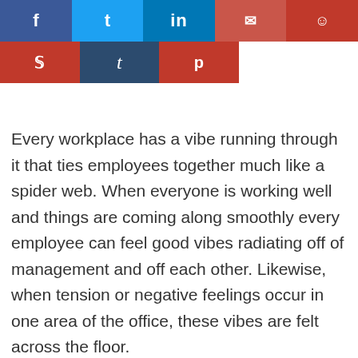[Figure (other): Social media share buttons: Facebook, Twitter, LinkedIn, Email, Reddit in top row; StumbleUpon, Tumblr, Pinterest in second row]
Every workplace has a vibe running through it that ties employees together much like a spider web. When everyone is working well and things are coming along smoothly every employee can feel good vibes radiating off of management and off each other. Likewise, when tension or negative feelings occur in one area of the office, these vibes are felt across the floor.
These negative tension vibes can be some of the most difficult ones for management staff to deal with. Often they crop up out of